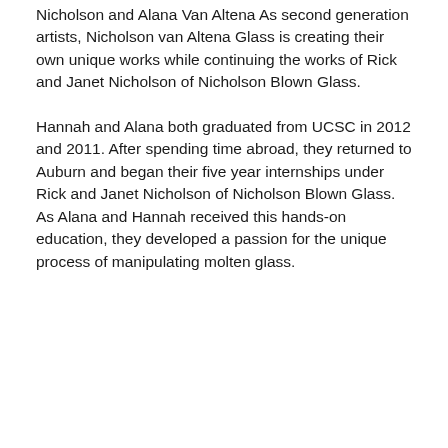Nicholson and Alana Van Altena As second generation artists, Nicholson van Altena Glass is creating their own unique works while continuing the works of Rick and Janet Nicholson of Nicholson Blown Glass.
Hannah and Alana both graduated from UCSC in 2012 and 2011. After spending time abroad, they returned to Auburn and began their five year internships under Rick and Janet Nicholson of Nicholson Blown Glass. As Alana and Hannah received this hands-on education, they developed a passion for the unique process of manipulating molten glass.